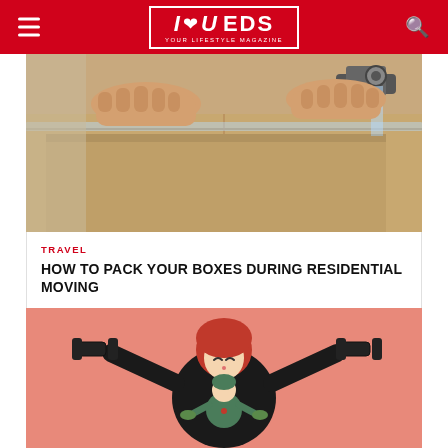I ♥ U EDS — YOUR LIFESTYLE MAGAZINE
[Figure (photo): Close-up photo of hands taping a cardboard moving box with packing tape dispenser]
TRAVEL
HOW TO PACK YOUR BOXES DURING RESIDENTIAL MOVING
[Figure (illustration): Flat vector illustration on salmon/pink background showing a woman with red hair lifting dumbbells with a small child below her, fitness/lifestyle theme]